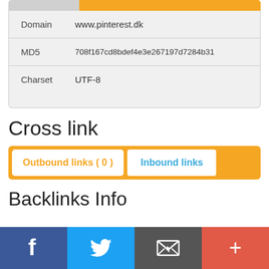| Field | Value |
| --- | --- |
| Domain | www.pinterest.dk |
| MD5 | 708f167cd8bdef4e3e267197d7284b31 |
| Charset | UTF-8 |
Cross link
[Figure (screenshot): Tab bar with two tabs: Outbound links (0) and Inbound links, on an orange background]
Backlinks Info
[Figure (infographic): Social sharing bar with Facebook, Twitter, Email, and Plus buttons]